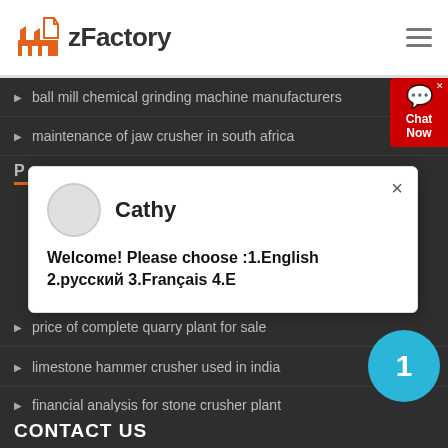zFactory
ball mill chemical grinding machine manufacturers
maintenance of jaw crusher in south africa
price of complete quarry plant for sale
limestone hammer crusher used in india
financial analysis for stone crusher plant
crusher crusher feldspar
cone crusher reasons
Cathy
Welcome! Please choose :1.English 2.русский 3.Français 4.E
CONTACT US